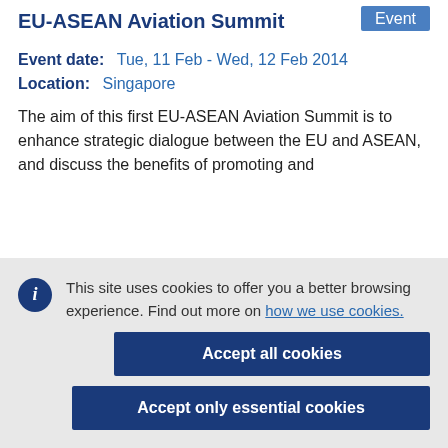EU-ASEAN Aviation Summit
Event
Event date:   Tue, 11 Feb - Wed, 12 Feb 2014
Location:   Singapore
The aim of this first EU-ASEAN Aviation Summit is to enhance strategic dialogue between the EU and ASEAN, and discuss the benefits of promoting and
This site uses cookies to offer you a better browsing experience. Find out more on how we use cookies.
Accept all cookies
Accept only essential cookies